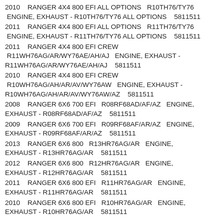2010  RANGER 4X4 800 EFI ALL OPTIONS  R10TH76/TY76  ENGINE, EXHAUST - R10TH76/TY76 ALL OPTIONS  5811511
2011  RANGER 4X4 800 EFI ALL OPTIONS  R11TH76/TY76  ENGINE, EXHAUST - R11TH76/TY76 ALL OPTIONS  5811511
2011  RANGER 4X4 800 EFI CREW  R11WH76AG/AR/WY76AE/AH/AJ  ENGINE, EXHAUST - R11WH76AG/AR/WY76AE/AH/AJ  5811511
2010  RANGER 4X4 800 EFI CREW  R10WH76AG/AH/AR/AV/WY76AW  ENGINE, EXHAUST - R10WH76AG/AH/AR/AV/WY76AW/AZ  5811511
2008  RANGER 6X6 700 EFI  R08RF68AD/AF/AZ  ENGINE, EXHAUST - R08RF68AD/AF/AZ  5811511
2009  RANGER 6X6 700 EFI  R09RF68AF/AR/AZ  ENGINE, EXHAUST - R09RF68AF/AR/AZ  5811511
2013  RANGER 6X6 800  R13HR76AG/AR  ENGINE, EXHAUST - R13HR76AG/AR  5811511
2012  RANGER 6X6 800  R12HR76AG/AR  ENGINE, EXHAUST - R12HR76AG/AR  5811511
2011  RANGER 6X6 800 EFI  R11HR76AG/AR  ENGINE, EXHAUST - R11HR76AG/AR  5811511
2010  RANGER 6X6 800 EFI  R10HR76AG/AR  ENGINE, EXHAUST - R10HR76AG/AR  5811511